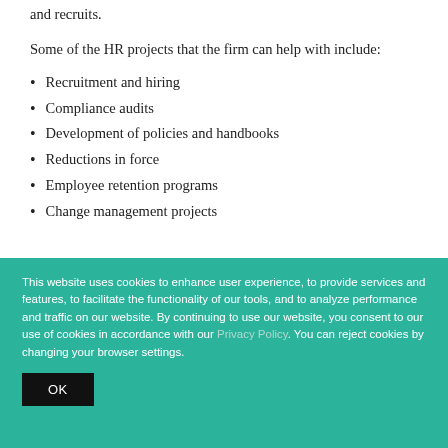and recruits.
Some of the HR projects that the firm can help with include:
Recruitment and hiring
Compliance audits
Development of policies and handbooks
Reductions in force
Employee retention programs
Change management projects
This website uses cookies to enhance user experience, to provide services and features, to facilitate the functionality of our tools, and to analyze performance and traffic on our website. By continuing to use our website, you consent to our use of cookies in accordance with our Privacy Policy. You can reject cookies by changing your browser settings.
OK